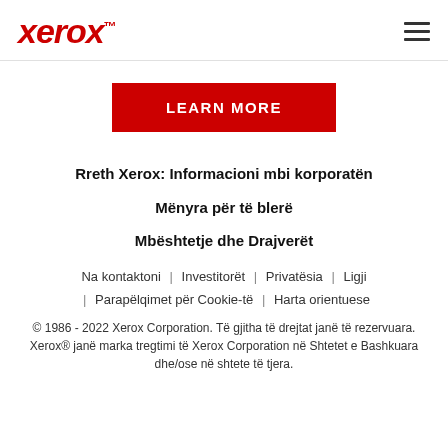Xerox™
[Figure (other): LEARN MORE button - red rectangle with white bold uppercase text]
Rreth Xerox: Informacioni mbi korporatën
Mënyra për të blerë
Mbështetje dhe Drajverët
Na kontaktoni | Investitorët | Privatësia | Ligji | Parapëlqimet për Cookie-të | Harta orientuese
© 1986 - 2022 Xerox Corporation. Të gjitha të drejtat janë të rezervuara. Xerox® janë marka tregtimi të Xerox Corporation në Shtetet e Bashkuara dhe/ose në shtete të tjera.